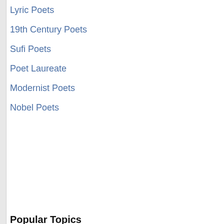Lyric Poets
19th Century Poets
Sufi Poets
Poet Laureate
Modernist Poets
Nobel Poets
Popular Topics
Inspirational
Nature